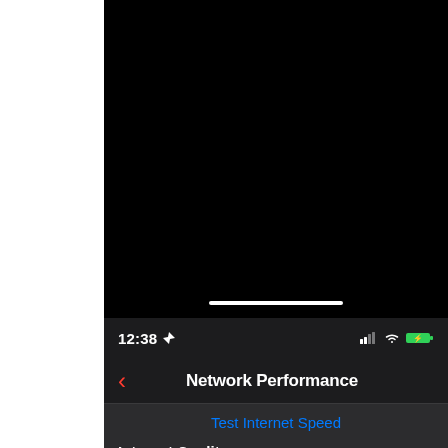[Figure (screenshot): iPhone screenshot showing a dark/black screen area at top with a white home indicator bar, iOS status bar showing time 12:38 with location arrow, signal bars, WiFi and charging battery icons, a navigation bar titled 'Network Performance' with a red back chevron, a 'Test Internet Speed' blue link row, and a partially visible 'Internet Quality' row at the bottom.]
12:38
Network Performance
Test Internet Speed
Internet Quality